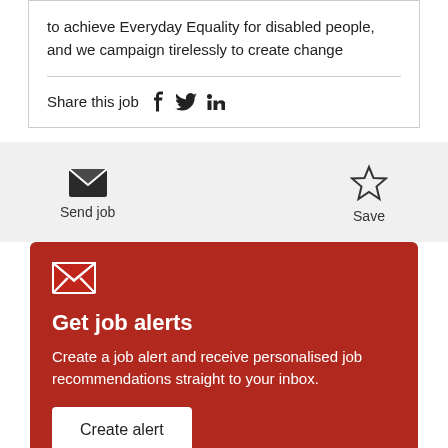to achieve Everyday Equality for disabled people, and we campaign tirelessly to create change
Share this job
Send job
Save
Get job alerts
Create a job alert and receive personalised job recommendations straight to your inbox.
Create alert